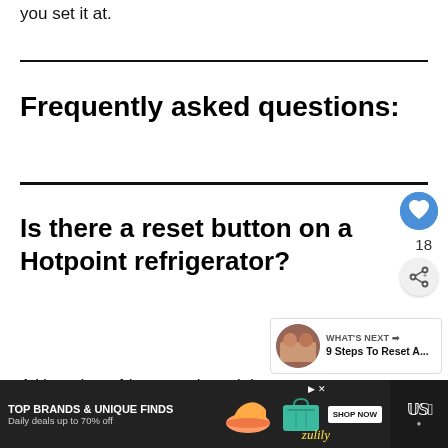you set it at.
Frequently asked questions:
Is there a reset button on a Hotpoint refrigerator?
A Hotpoint refrigerator doesn't have a re…
[Figure (screenshot): Advertisement banner: TOP BRANDS & UNIQUE FINDS, Daily deals up to 70% off, SHOP NOW, zulily]
[Figure (infographic): What's Next panel: 9 Steps To Reset A...]